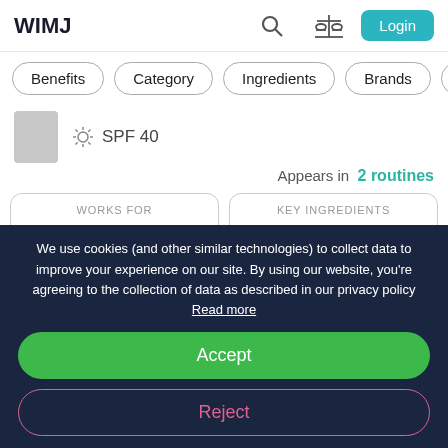WIMJ
Benefits
Category
Ingredients
Brands
SPF 40
Appears in  2 routines
WORKS FOR
Anti-aging
Sun protection
Evens skin tone
KEY INGREDIENTS
Acetyl Carnitine Hcl
Adenosine Phosphate
Caffeine
We use cookies (and other similar technologies) to collect data to improve your experience on our site. By using our website, you’re agreeing to the collection of data as described in our privacy policy Read more
Accept
Reject